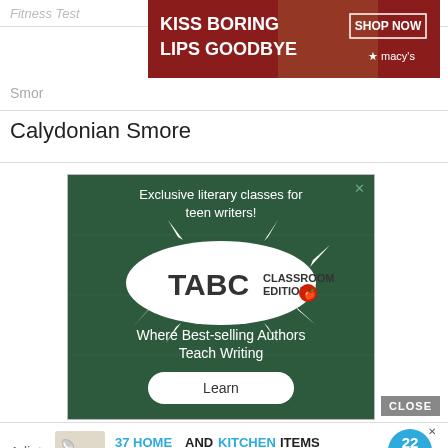Fitness Test
[Figure (photo): Macy's advertisement: woman with red lipstick, text KISS BORING LIPS GOODBYE, SHOP NOW, macys logo]
Smor
Calydonian Smore
[Figure (illustration): TABC Classroom Edition advertisement on green chalkboard background. Text: Exclusive literary classes for teen writers! TABC CLASSROOM EDITION. Where Best-selling Authors Teach Writing. Learn button.]
CLOSE
[Figure (infographic): 22 Words advertisement: 37 HOME AND KITCHEN ITEMS EVERYONE SHOULD OWN. Shows 22 Words logo badge.]
Adjut